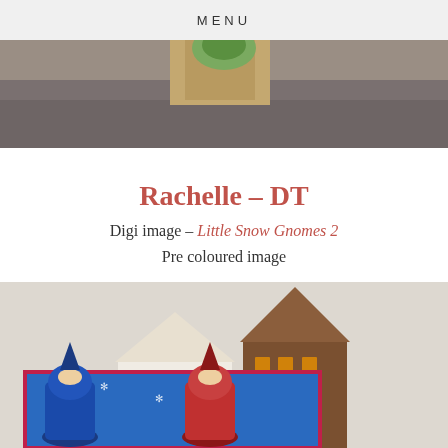MENU
[Figure (photo): Close-up photo of a craft card on a wooden/grey surface, partially visible at top of page]
Rachelle – DT
Digi image – Little Snow Gnomes 2
Pre coloured image
[Figure (photo): Photo of decorative wooden house structures (one white, one brown) with a blue Christmas card featuring snow gnomes in front, placed against a white wall]